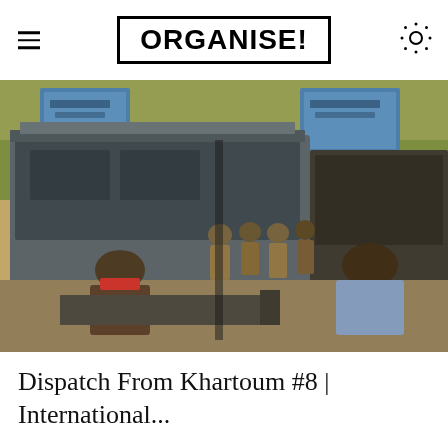ORGANISE!
[Figure (photo): Street scene showing protesters facing a line of uniformed security forces standing in front of large military/police vehicles. In the foreground are two people with backs to camera, one shirtless with a red cloth around his neck, another in a blue shirt. Arabic signage visible on blue billboards in background. Trees visible in the distance.]
Dispatch From Khartoum #8 | International...